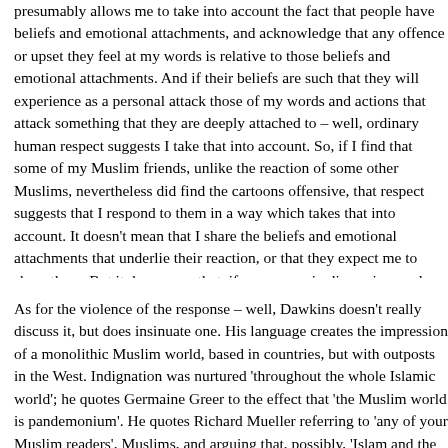presumably allows me to take into account the fact that people have beliefs and emotional attachments, and acknowledge that any offence or upset they feel at my words is relative to those beliefs and emotional attachments. And if their beliefs are such that they will experience as a personal attack those of my words and actions that attack something that they are deeply attached to – well, ordinary human respect suggests I take that into account. So, if I find that some of my Muslim friends, unlike the reaction of some other Muslims, nevertheless did find the cartoons offensive, that respect suggests that I respond to them in a way which takes that into account. It doesn't mean that I share the beliefs and emotional attachments that underlie their reaction, or that they expect me to share them. But it does mean that, if we engage in discussion, and particularly if I find myself attacking some of the responses of some Muslims, and even more so if I want to argue for the right of people to indulge in such satire, ordinary human tact suggests that I should recognise and perhaps even acknowledge that upset. That's not about some special kind of respect for religion; it's about treating my interlocutors as human.
As for the violence of the response – well, Dawkins doesn't really discuss it, but does insinuate one. His language creates the impression of a monolithic Muslim world, based in countries, but with outposts in the West. Indignation was nurtured 'throughout the whole Islamic world'; he quotes Germaine Greer to the effect that 'the Muslim world is pandemonium'. He quotes Richard Mueller referring to 'any of your Muslim readers', Muslims, and arguing that, possibly, 'Islam and the west are fundamentally...